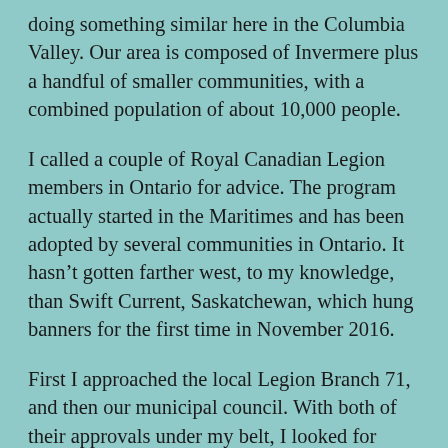doing something similar here in the Columbia Valley. Our area is composed of Invermere plus a handful of smaller communities, with a combined population of about 10,000 people.
I called a couple of Royal Canadian Legion members in Ontario for advice. The program actually started in the Maritimes and has been adopted by several communities in Ontario. It hasn't gotten farther west, to my knowledge, than Swift Current, Saskatchewan, which hung banners for the first time in November 2016.
First I approached the local Legion Branch 71, and then our municipal council. With both of their approvals under my belt, I looked for someone to help me, and was thankful when Sandi Jones stepped forward. I could not have done this without her.
Sandi's father, aunt, uncle and two other family